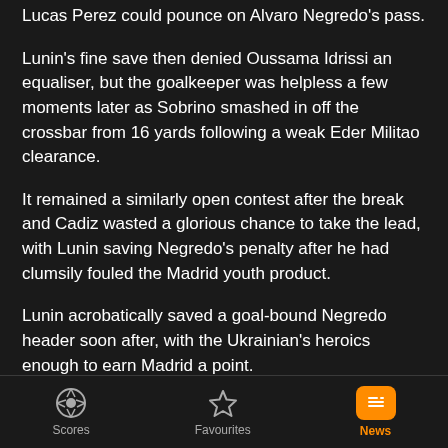Lucas Perez could pounce on Alvaro Negredo's pass.
Lunin's fine save then denied Oussama Idrissi an equaliser, but the goalkeeper was helpless a few moments later as Sobrino smashed in off the crossbar from 16 yards following a weak Eder Militao clearance.
It remained a similarly open contest after the break and Cadiz wasted a glorious chance to take the lead, with Lunin saving Negredo's penalty after he had clumsily fouled the Madrid youth product.
Lunin acrobatically saved a goal-bound Negredo header soon after, with the Ukrainian's heroics enough to earn Madrid a point.
Scores   Favourites   News